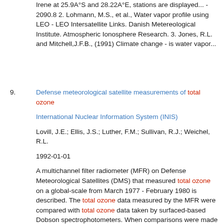Irene at 25.9A°S and 28.22A°E, stations are displayed... - 2090.8 2. Lohmann, M.S., et al., Water vapor profile using LEO - LEO Intersatellite Links. Danish Metereological Institute. Atmospheric Ionosphere Research. 3. Jones, R.L. and Mitchell,J.F.B., (1991) Climate change - is water vapor...
9. Defense meteorological satellite measurements of total ozone

International Nuclear Information System (INIS)

Lovill, J.E.; Ellis, J.S.; Luther, F.M.; Sullivan, R.J.; Weichel, R.L.

1992-01-01

A multichannel filter radiometer (MFR) on Defense Meteorological Satellites (DMS) that measured total ozone on a global-scale from March 1977 - February 1980 is described. The total ozone data measured by the MFR were compared with total ozone data taken by surfaced-based Dobson spectrophotometers. When comparisons were made for five months, the Dobson spectrophotometer measured 2-5% more total ozone than the MFR. Comparisons between the Dobson spectrophotometer and the MFR showed a reduced RMS difference as the comparisons were made at closer proximity. A